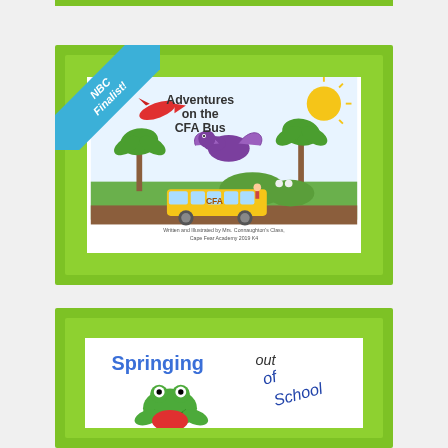[Figure (illustration): Top green decorative strip at the very top of the page]
[Figure (illustration): Book cover card for 'Adventures on the CFA Bus' with NBC Finalist ribbon in top-left corner. Green framed card containing a children's book cover illustration showing a yellow school bus labeled CFA, palm trees, a purple dinosaur flying, a red rocket/plane, a sun, green hills, and small animals. Text reads 'Adventures on the CFA Bus'. Bottom text: 'Written and Illustrated by Mrs. Connaughton's Class, Cape Fear Academy 2019 K4'.]
[Figure (illustration): Partial book cover card for 'Springing out of School' shown at the bottom. Green framed card containing a children's book cover with colorful hand-lettered text 'Springing out of School' and a cartoon frog character.]